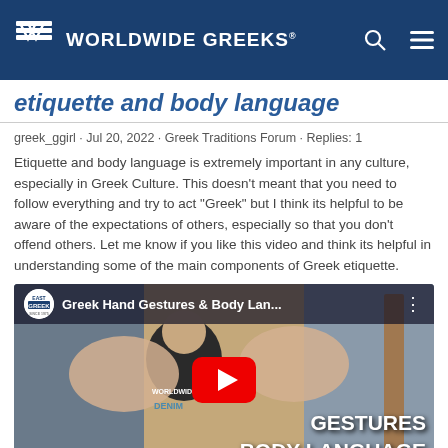Worldwide Greeks
etiquette and body language
greek_ggirl · Jul 20, 2022 · Greek Traditions Forum · Replies: 1
Etiquette and body language is extremely important in any culture, especially in Greek Culture. This doesn't meant that you need to follow everything and try to act "Greek" but I think its helpful to be aware of the expectations of others, especially so that you don't offend others. Let me know if you like this video and think its helpful in understanding some of the main components of Greek etiquette.
[Figure (screenshot): YouTube video thumbnail titled 'Greek Hand Gestures & Body Lan...' from the East Greek channel, showing a man making hand gestures, with a red YouTube play button in the center, and text overlay reading 'GESTURES BODY LANGUAGE' and 'EASY']